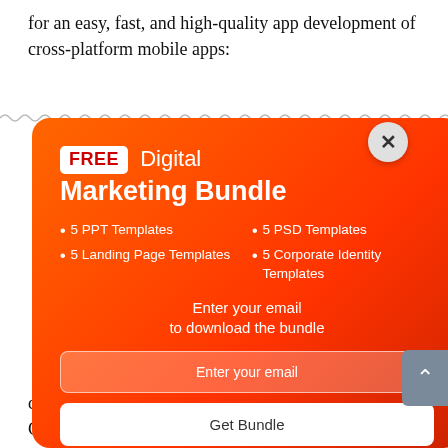for an easy, fast, and high-quality app development of cross-platform mobile apps:
[Figure (screenshot): A popup advertisement overlay with orange-red gradient background promoting a 'FREE Digital Marketing Bundle' including 5 PPT Templates, 5 PSD Templates, 5 Landing Page Templates, 5 Corporate Identity Templates. Has email input field and 'Get Bundle' button. A close (X) button appears in top-right corner of the popup.]
ter version of advantages, and ture is the usage n advanced general- marin promises id all sorts o... Xamarin development for Android or iOS.The benefits of C#